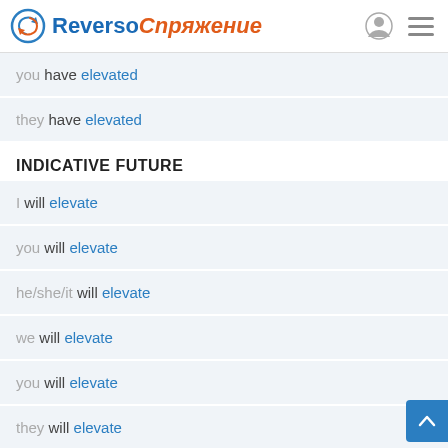Reverso Спряжение
you have elevated
they have elevated
INDICATIVE FUTURE
I will elevate
you will elevate
he/she/it will elevate
we will elevate
you will elevate
they will elevate
INDICATIVE FUTURE PERFECT